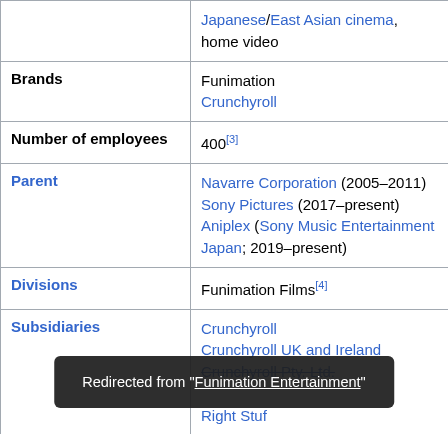| Field | Value |
| --- | --- |
|  | Japanese/East Asian cinema, home video |
| Brands | Funimation
Crunchyroll |
| Number of employees | 400[3] |
| Parent | Navarre Corporation (2005–2011)
Sony Pictures (2017–present)
Aniplex (Sony Music Entertainment Japan; 2019–present) |
| Divisions | Funimation Films[4] |
| Subsidiaries | Crunchyroll
Crunchyroll UK and Ireland
Crunchyroll Pty. Ltd.
...
Right Stuf |
Redirected from "Funimation Entertainment"